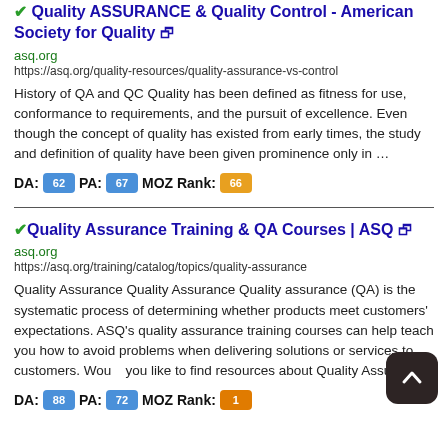✔ Quality ASSURANCE & Quality Control - American Society for Quality 🔗
asq.org
https://asq.org/quality-resources/quality-assurance-vs-control
History of QA and QC Quality has been defined as fitness for use, conformance to requirements, and the pursuit of excellence. Even though the concept of quality has existed from early times, the study and definition of quality have been given prominence only in …
DA: 62  PA: 67  MOZ Rank: 66
✔ Quality Assurance Training & QA Courses | ASQ 🔗
asq.org
https://asq.org/training/catalog/topics/quality-assurance
Quality Assurance Quality Assurance Quality assurance (QA) is the systematic process of determining whether products meet customers' expectations. ASQ's quality assurance training courses can help teach you how to avoid problems when delivering solutions or services to customers. Would you like to find resources about Quality Assurance?
DA: 88  PA: 72  MOZ Rank: 1